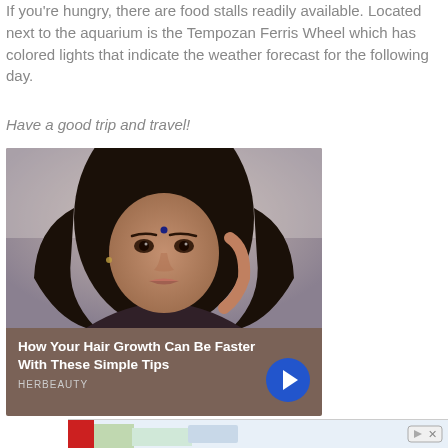If you're hungry, there are food stalls readily available. Located next to the aquarium is the Tempozan Ferris Wheel which has colored lights that indicate the weather forecast for the following day.
Have a good trip and travel!
[Figure (photo): Advertisement card showing a young woman with dark curly hair and a bindi, with overlay text 'How Your Hair Growth Can Be Faster With These Simple Tips' and brand label 'HERBEAUTY']
[Figure (other): Partial advertisement banner at bottom of page]